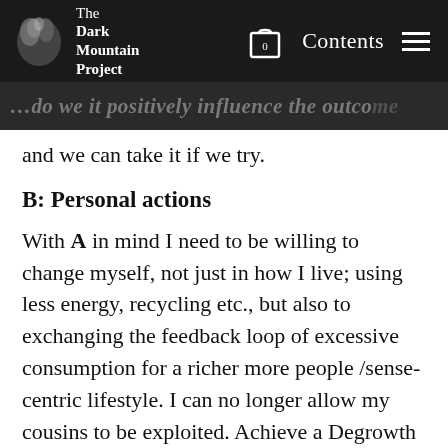The Dark Mountain Project | Contents
…do we it positively influence the outcome and we can take it if we try.
B: Personal actions
With A in mind I need to be willing to change myself, not just in how I live; using less energy, recycling etc., but also to exchanging the feedback loop of excessive consumption for a richer more people /sense-centric lifestyle. I can no longer allow my cousins to be exploited. Achieve a Degrowth trajectory for the economy of the…